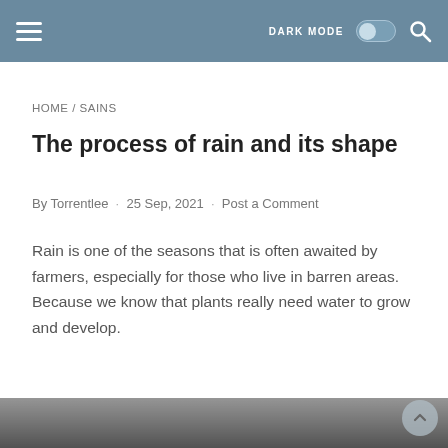HOME / SAINS
The process of rain and its shape
By Torrentlee · 25 Sep, 2021 · Post a Comment
Rain is one of the seasons that is often awaited by farmers, especially for those who live in barren areas. Because we know that plants really need water to grow and develop.
[Figure (photo): Bottom portion of a dark photo, partially visible at the bottom of the page.]